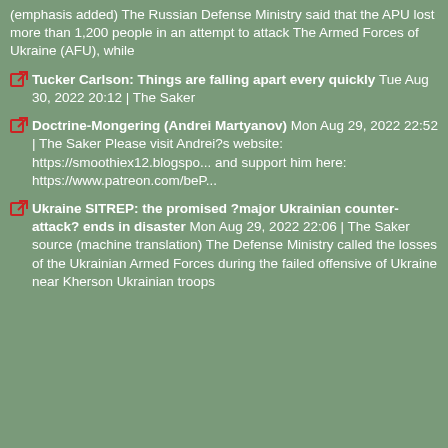(emphasis added) The Russian Defense Ministry said that the APU lost more than 1,200 people in an attempt to attack The Armed Forces of Ukraine (AFU), while
Tucker Carlson: Things are falling apart every quickly Tue Aug 30, 2022 20:12 | The Saker
Doctrine-Mongering (Andrei Martyanov) Mon Aug 29, 2022 22:52 | The Saker Please visit Andrei?s website: https://smoothiex12.blogspo... and support him here: https://www.patreon.com/beP...
Ukraine SITREP: the promised ?major Ukrainian counter-attack? ends in disaster Mon Aug 29, 2022 22:06 | The Saker source (machine translation) The Defense Ministry called the losses of the Ukrainian Armed Forces during the failed offensive of Ukraine near Kherson Ukrainian troops